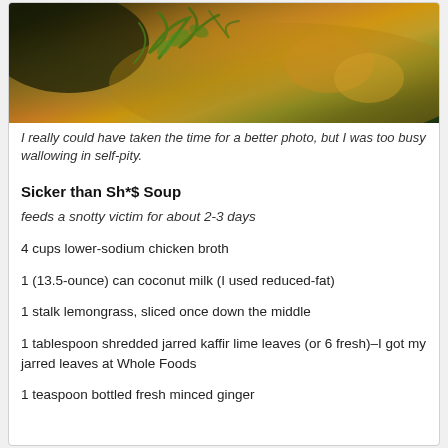[Figure (photo): Close-up photo of soup with golden broth, orange/yellow curry color, visible herbs including cilantro/green herbs on top, dark background]
I really could have taken the time for a better photo, but I was too busy wallowing in self-pity.
Sicker than Sh*$ Soup
feeds a snotty victim for about 2-3 days
4 cups lower-sodium chicken broth
1 (13.5-ounce) can coconut milk (I used reduced-fat)
1 stalk lemongrass, sliced once down the middle
1 tablespoon shredded jarred kaffir lime leaves (or 6 fresh)–I got my jarred leaves at Whole Foods
1 teaspoon bottled fresh minced ginger